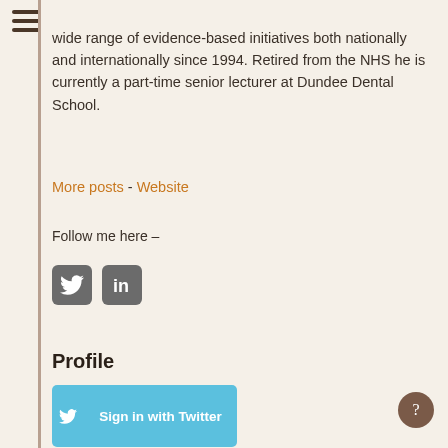[Figure (other): Hamburger menu icon (three horizontal lines) in top-left corner]
wide range of evidence-based initiatives both nationally and internationally since 1994. Retired from the NHS he is currently a part-time senior lecturer at Dundee Dental School.
More posts - Website
Follow me here –
[Figure (other): Twitter bird icon (grey rounded square button) and LinkedIn 'in' icon (grey rounded square button)]
Profile
[Figure (other): Sign in with Twitter button (light blue)]
[Figure (other): Sign in with Facebook button (dark blue)]